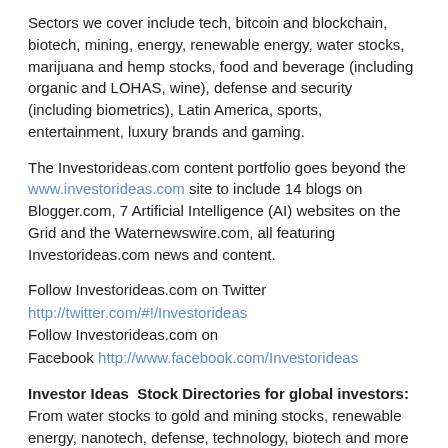Sectors we cover include tech, bitcoin and blockchain, biotech, mining, energy, renewable energy, water stocks, marijuana and hemp stocks, food and beverage (including organic and LOHAS, wine), defense and security (including biometrics), Latin America, sports, entertainment, luxury brands and gaming.
The Investorideas.com content portfolio goes beyond the www.investorideas.com site to include 14 blogs on Blogger.com, 7 Artificial Intelligence (AI) websites on the Grid and the Waternewswire.com, all featuring Investorideas.com news and content.
Follow Investorideas.com on Twitter http://twitter.com/#!/Investorideas Follow Investorideas.com on Facebook http://www.facebook.com/Investorideas
Investor Ideas  Stock Directories for global investors: From water stocks to gold and mining stocks, renewable energy, nanotech, defense, technology, biotech and more – use our stock directories and access them online 24/7 with login as a member to find your next big idea! http://www.investorideas.com/membership/
Services for Publicly traded